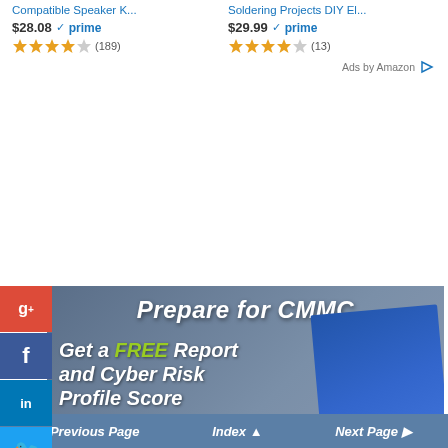Compatible Speaker K...
$28.08 ✓prime (189)
Soldering Projects DIY El...
$29.99 ✓prime (13)
Ads by Amazon
[Figure (screenshot): CMMC advertisement banner: 'Prepare for CMMC' header, 'Get a FREE Report and Cyber Risk Profile Score' text with book product image showing EXPRESS ASSESSMENT and SECURE HALO branding]
[Figure (infographic): Social media sidebar buttons: Google+, Facebook, LinkedIn, Twitter, Share, StumbleUpon]
◄ Previous Page   Index ▲   Next Page ►